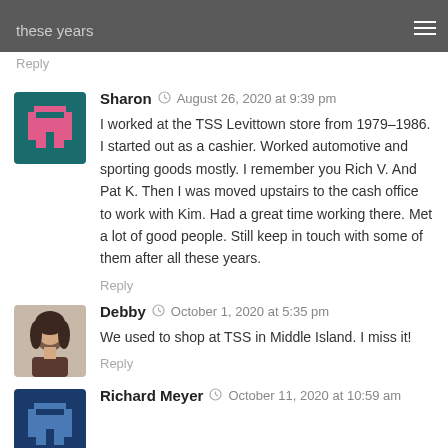these years
Reply
Sharon  August 26, 2020 at 9:39 pm
I worked at the TSS Levittown store from 1979-1986. I started out as a cashier. Worked automotive and sporting goods mostly. I remember you Rich V. And Pat K. Then I was moved upstairs to the cash office to work with Kim. Had a great time working there. Met a lot of good people. Still keep in touch with some of them after all these years.
Reply
Debby  October 1, 2020 at 5:35 pm
We used to shop at TSS in Middle Island. I miss it!
Reply
Richard Meyer  October 11, 2020 at 10:59 am